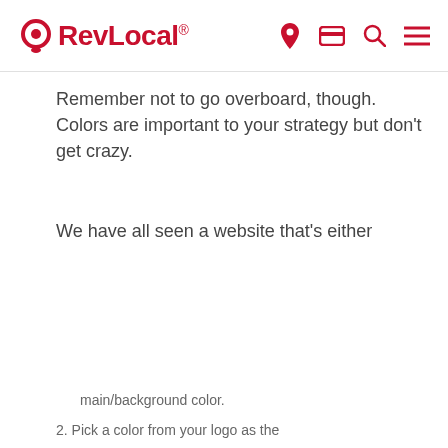RevLocal®
Remember not to go overboard, though. Colors are important to your strategy but don't get crazy.
We have all seen a website that's either
[Figure (screenshot): Site Cookie Acknowledgement modal with cookie icon, close button, body text about cookies and Privacy Policy link, and an ACCEPT button]
main/background color.
2. Pick a color from your logo as the